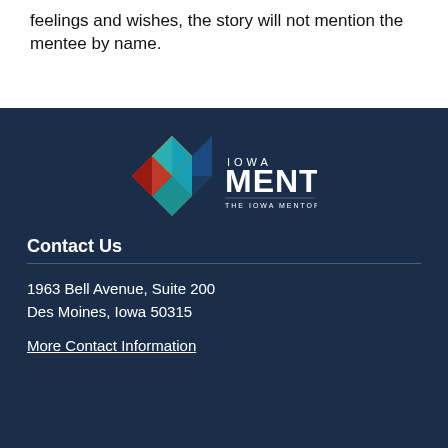feelings and wishes, the story will not mention the mentee by name.
[Figure (logo): Iowa Mentor - The Iowa Mentoring Partnership logo with colorful geometric diamond shapes in red, orange, yellow, teal, and blue, followed by text IOWA MENTOR and THE IOWA MENTORING PARTNERSHIP]
Contact Us
1963 Bell Avenue, Suite 200
Des Moines, Iowa 50315
More Contact Information